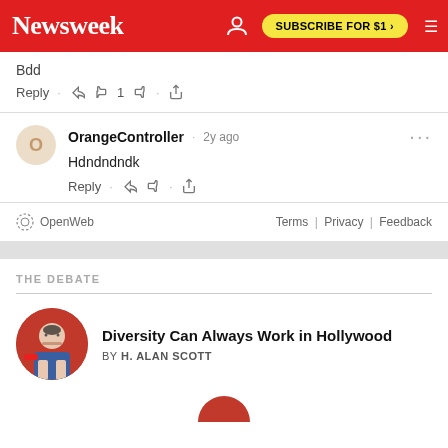Newsweek | SUBSCRIBE FOR $1 >
Bdd
Reply · 👍 1 👎 · Share
OrangeController · 2y ago
Hdndndndk
Reply · 👍 👎 · Share
OpenWeb   Terms | Privacy | Feedback
THE DEBATE
Diversity Can Always Work in Hollywood
BY H. ALAN SCOTT